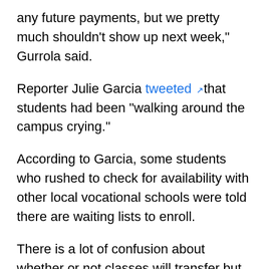any future payments, but we pretty much shouldn't show up next week," Gurrola said.
Reporter Julie Garcia tweeted that students had been "walking around the campus crying."
According to Garcia, some students who rushed to check for availability with other local vocational schools were told there are waiting lists to enroll.
There is a lot of confusion about whether or not classes will transfer but Gurrola told the newspaper "students were told they would receive credit for what they have already taken and would be able to receive an unofficial transcript."
Federal student loan borrowers whose schools